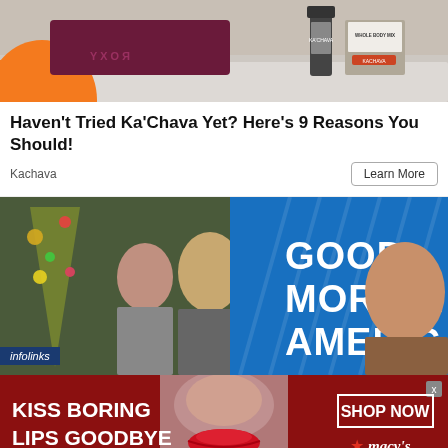[Figure (photo): A person in a Roxy wetsuit on a surfboard with an orange fin, holding a bottle product (Ka'Chava)]
Haven't Tried Ka'Chava Yet? Here's 9 Reasons You Should!
Kachava
Learn More
[Figure (photo): Good Morning America promotional image with hosts in front of a Christmas tree and GMA logo on blue background]
infolinks
[Figure (photo): Macy's advertisement: KISS BORING LIPS GOODBYE with a woman wearing red lipstick, SHOP NOW button and Macy's star logo]